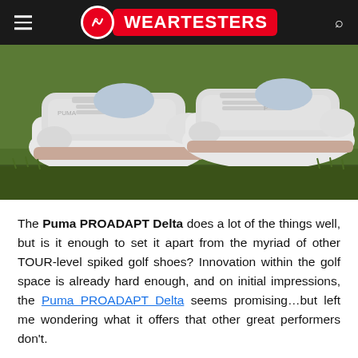WEARTESTERS
[Figure (photo): Close-up photo of white Puma PROADAPT Delta golf shoes on green grass]
The Puma PROADAPT Delta does a lot of the things well, but is it enough to set it apart from the myriad of other TOUR-level spiked golf shoes? Innovation within the golf space is already hard enough, and on initial impressions, the Puma PROADAPT Delta seems promising…but left me wondering what it offers that other great performers don't.